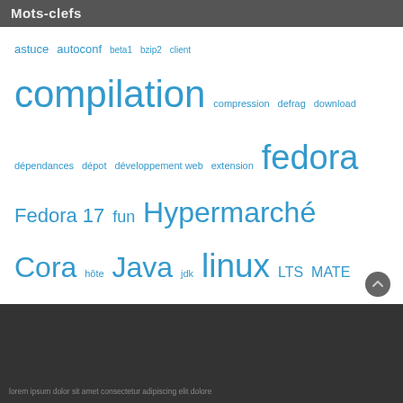Mots-clefs
astuce autoconf beta1 bzip2 client compilation compression defrag download dépendances dépot développement web extension fedora Fedora 17 fun Hypermarché Cora hôte Java jdk linux LTS MATE mysql news NFS OpenJDK oracle package pecl php phpStorm release notes rpm serveur typo3 typo3 4.6 VBoxManage vdi vidéo virtual virtualbox windows youtube yum
lorem ipsum dolor sit amet consectetur adipiscing elit dolore